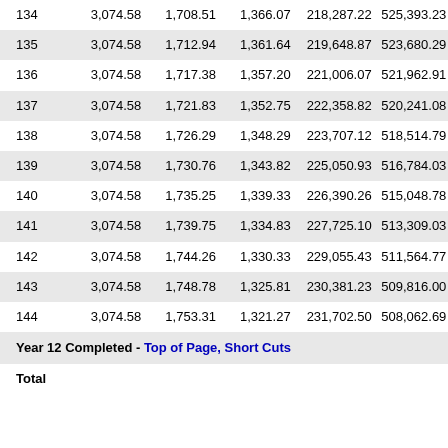| # | Payment | Interest | Principal | Cum. Interest | Balance |
| --- | --- | --- | --- | --- | --- |
| 134 | 3,074.58 | 1,708.51 | 1,366.07 | 218,287.22 | 525,393.23 |
| 135 | 3,074.58 | 1,712.94 | 1,361.64 | 219,648.87 | 523,680.29 |
| 136 | 3,074.58 | 1,717.38 | 1,357.20 | 221,006.07 | 521,962.91 |
| 137 | 3,074.58 | 1,721.83 | 1,352.75 | 222,358.82 | 520,241.08 |
| 138 | 3,074.58 | 1,726.29 | 1,348.29 | 223,707.12 | 518,514.79 |
| 139 | 3,074.58 | 1,730.76 | 1,343.82 | 225,050.93 | 516,784.03 |
| 140 | 3,074.58 | 1,735.25 | 1,339.33 | 226,390.26 | 515,048.78 |
| 141 | 3,074.58 | 1,739.75 | 1,334.83 | 227,725.10 | 513,309.03 |
| 142 | 3,074.58 | 1,744.26 | 1,330.33 | 229,055.43 | 511,564.77 |
| 143 | 3,074.58 | 1,748.78 | 1,325.81 | 230,381.23 | 509,816.00 |
| 144 | 3,074.58 | 1,753.31 | 1,321.27 | 231,702.50 | 508,062.69 |
Year 12 Completed - Top of Page, Short Cuts
Total